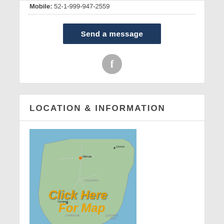Mobile: 52-1-999-947-2559
Send a message
[Figure (other): Facebook icon circle button]
LOCATION & INFORMATION
[Figure (map): Map of Yucatan Peninsula region showing Merida, Campeche, Cancun and surrounding areas with overlaid text 'Click Here For Map']